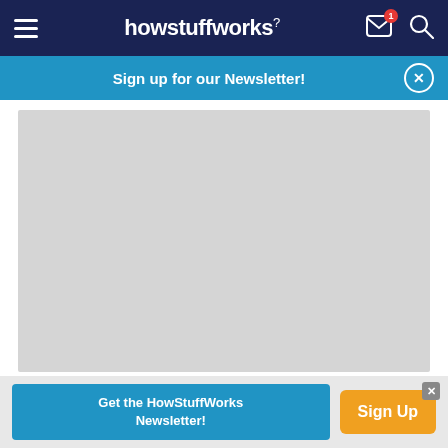howstuffworks
Sign up for our Newsletter!
[Figure (photo): Gray placeholder image for a 1970-1986 Jeep CJ article]
1970-1986 Jeep CJ
Get the HowStuffWorks Newsletter! Sign Up